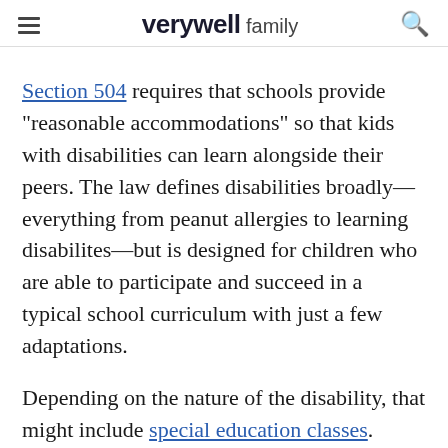verywell family
Section 504 requires that schools provide "reasonable accommodations" so that kids with disabilities can learn alongside their peers. The law defines disabilities broadly—everything from peanut allergies to learning disabilites—but is designed for children who are able to participate and succeed in a typical school curriculum with just a few adaptations.
Depending on the nature of the disability, that might include special education classes. Unfortunately, school districts are not required to